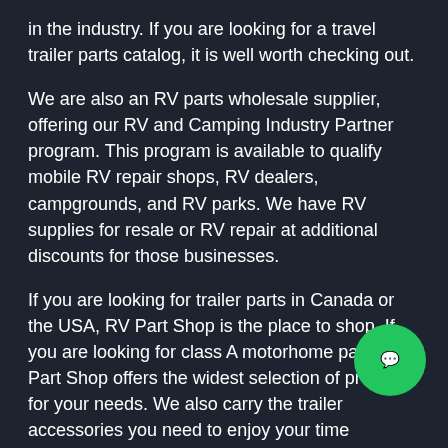in the industry. If you are looking for a travel trailer parts catalog, it is well worth checking out.
We are also an RV parts wholesale supplier, offering our RV and Camping Industry Partner program. This program is available to qualify mobile RV repair shops, RV dealers, campgrounds, and RV parks. We have RV supplies for resale or RV repair at additional discounts for those businesses.
If you are looking for trailer parts in Canada or the USA, RV Part Shop is the place to shop. If you are looking for class A motorhome parts, RV Part Shop offers the widest selection of products for your needs. We also carry the trailer accessories you need to enjoy your time outdoors.
If you have something smaller, We've got what you need in Coleman trailer parts. We also serve owners of Fleetwood RV vehicles, Jayco trailers, and camping trailer accessories.
For family camping, we have a complete supply of pop-up trailer parts. We also carry tent trailer accessories and for your pop-up camper too.
Our sale items include the best items of RV surplus in the